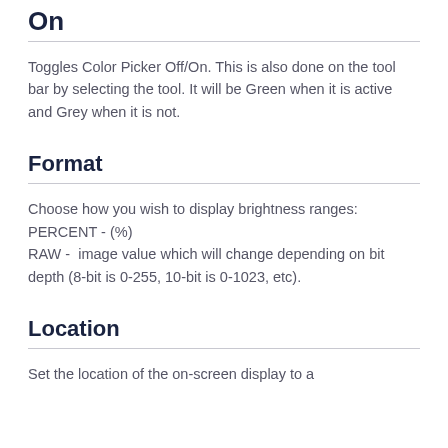On
Toggles Color Picker Off/On.  This is also done on the tool bar by selecting the tool.  It will be Green when it is active and Grey when it is not.
Format
Choose how you wish to display brightness ranges:
PERCENT - (%)
RAW -  image value which will change depending on bit depth (8-bit is 0-255, 10-bit is 0-1023, etc).
Location
Set the location of the on-screen display to a